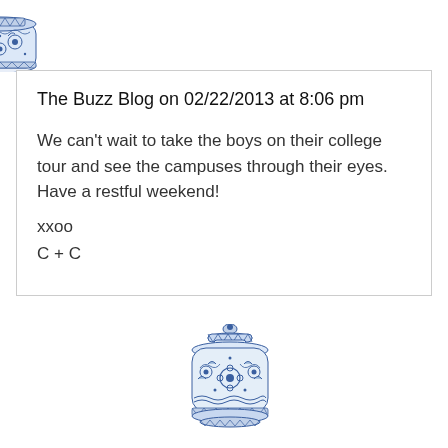[Figure (illustration): Blue and white decorative Chinese-style ginger jar / vase illustration, top portion visible, positioned at top center of page]
The Buzz Blog on 02/22/2013 at 8:06 pm
We can't wait to take the boys on their college tour and see the campuses through their eyes. Have a restful weekend!
xxoo
C + C
[Figure (illustration): Blue and white decorative Chinese-style ginger jar / vase illustration, full jar visible, positioned at bottom center of page]